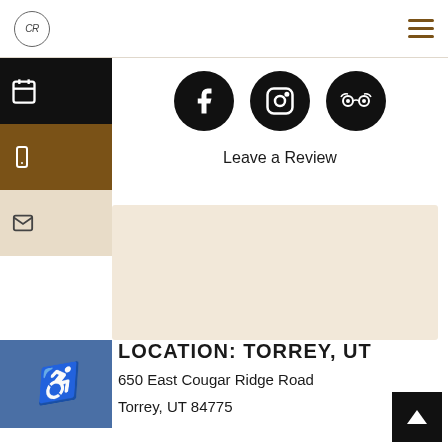CR logo | hamburger menu
FOLLOW US
[Figure (illustration): Three social media icon circles: Facebook, Instagram, TripAdvisor]
Leave a Review
[Figure (map): Beige/tan map area placeholder]
LOCATION: TORREY, UT
650 East Cougar Ridge Road
Torrey, UT 84775